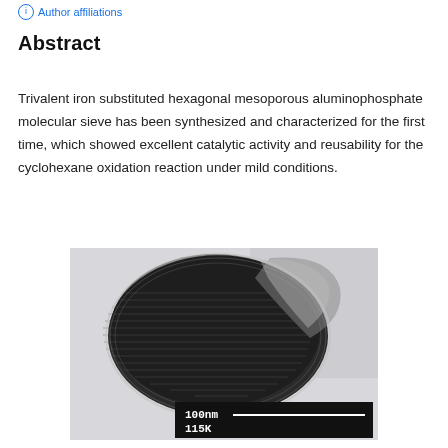Author affiliations
Abstract
Trivalent iron substituted hexagonal mesoporous aluminophosphate molecular sieve has been synthesized and characterized for the first time, which showed excellent catalytic activity and reusability for the cyclohexane oxidation reaction under mild conditions.
[Figure (photo): Transmission electron microscopy (TEM) image of mesoporous aluminophosphate molecular sieve particle showing hexagonal ordered pore structure. Scale bar indicates 100nm at 115K magnification.]